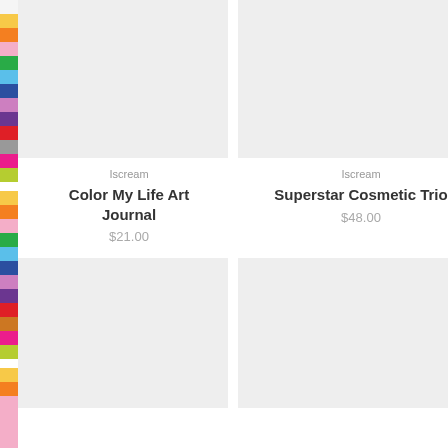[Figure (other): Color bar strip on left edge with multiple colored sections]
[Figure (photo): Product image placeholder for Color My Life Art Journal (light gray background)]
[Figure (photo): Product image placeholder for Superstar Cosmetic Trio (light gray background)]
Iscream
Color My Life Art Journal
$21.00
Iscream
Superstar Cosmetic Trio
$48.00
[Figure (photo): Product image placeholder (light gray background, bottom left)]
[Figure (photo): Product image placeholder (light gray background, bottom right)]